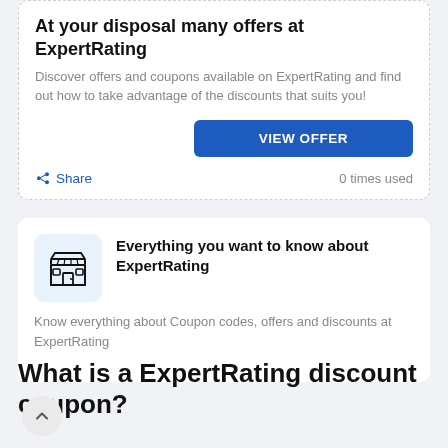At your disposal many offers at ExpertRating
Discover offers and coupons available on ExpertRating and find out how to take advantage of the discounts that suits you!
VIEW OFFER
Share
0 times used
[Figure (illustration): Store/shop icon in a light blue rounded square background]
Everything you want to know about ExpertRating
Know everything about Coupon codes, offers and discounts at ExpertRating
What is a ExpertRating discount coupon?